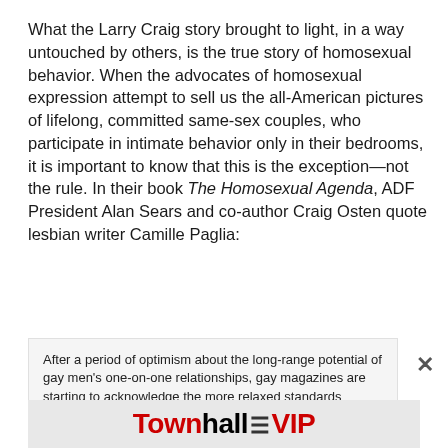What the Larry Craig story brought to light, in a way untouched by others, is the true story of homosexual behavior. When the advocates of homosexual expression attempt to sell us the all-American pictures of lifelong, committed same-sex couples, who participate in intimate behavior only in their bedrooms, it is important to know that this is the exception—not the rule. In their book The Homosexual Agenda, ADF President Alan Sears and co-author Craig Osten quote lesbian writer Camille Paglia:
After a period of optimism about the long-range potential of gay men's one-on-one relationships, gay magazines are starting to acknowledge the more relaxed standards operating here, with recent articles celebrating the bigger
[Figure (logo): Townhall VIP advertisement banner with red and black text]